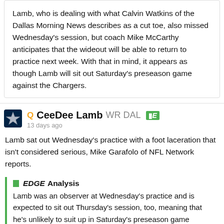Lamb, who is dealing with what Calvin Watkins of the Dallas Morning News describes as a cut toe, also missed Wednesday's session, but coach Mike McCarthy anticipates that the wideout will be able to return to practice next week. With that in mind, it appears as though Lamb will sit out Saturday's preseason game against the Chargers.
Q CeeDee Lamb WR DAL E | 13 days ago
Lamb sat out Wednesday's practice with a foot laceration that isn't considered serious, Mike Garafolo of NFL Network reports.
EDGE Analysis
Lamb was an observer at Wednesday's practice and is expected to sit out Thursday's session, too, meaning that he's unlikely to suit up in Saturday's preseason game against the Chargers. The foot issue isn't anything that should keep him off the field for long, and he'll enter Week 1 as Dallas' unquestioned No. 1 receiver with Amari Cooper now in Cleveland and with Michael Gallup (knee) working his way back from an